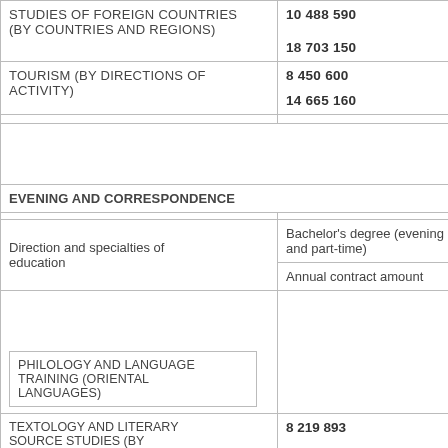| Direction and specialties of education | Bachelor's degree (evening and part-time) / Annual contract amount |
| --- | --- |
| STUDIES OF FOREIGN COUNTRIES (BY COUNTRIES AND REGIONS) | 10 488 590 | 18 703 150 |
| TOURISM (BY DIRECTIONS OF ACTIVITY) | 8 450 600 | 14 665 160 |
|  |  |  |
| EVENING AND CORRESPONDENCE |  |
| Direction and specialties of education | Bachelor's degree (evening and part-time) / Annual contract amount |
| PHILOLOGY AND LANGUAGE TRAINING (ORIENTAL LANGUAGES) |  |
| TEXTOLOGY AND LITERARY SOURCE STUDIES (BY LANGUAGES) | 8 219 893 |  |